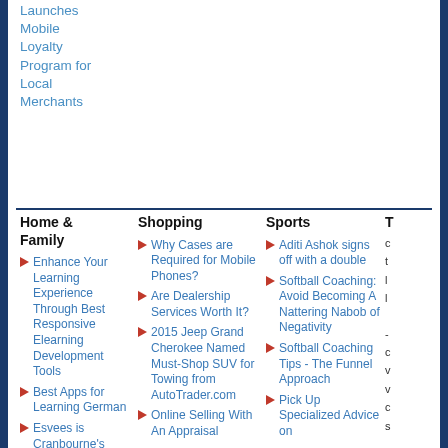Launches Mobile Loyalty Program for Local Merchants
Home & Family
Shopping
Sports
T
Enhance Your Learning Experience Through Best Responsive Elearning Development Tools
Best Apps for Learning German
Esvees is Cranbourne's Elite Hair Dressing
Why Cases are Required for Mobile Phones?
Are Dealership Services Worth It?
2015 Jeep Grand Cherokee Named Must-Shop SUV for Towing from AutoTrader.com
Online Selling With An Appraisal
Aditi Ashok signs off with a double
Softball Coaching: Avoid Becoming A Nattering Nabob of Negativity
Softball Coaching Tips - The Funnel Approach
Pick Up Specialized Advice on